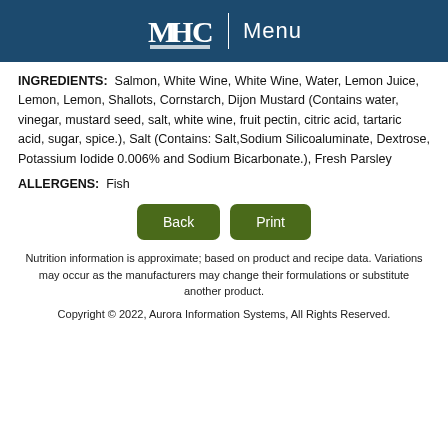MHC | Menu
INGREDIENTS: Salmon, White Wine, White Wine, Water, Lemon Juice, Lemon, Lemon, Shallots, Cornstarch, Dijon Mustard (Contains water, vinegar, mustard seed, salt, white wine, fruit pectin, citric acid, tartaric acid, sugar, spice.), Salt (Contains: Salt,Sodium Silicoaluminate, Dextrose, Potassium Iodide 0.006% and Sodium Bicarbonate.), Fresh Parsley
ALLERGENS: Fish
Nutrition information is approximate; based on product and recipe data. Variations may occur as the manufacturers may change their formulations or substitute another product.
Copyright © 2022, Aurora Information Systems, All Rights Reserved.